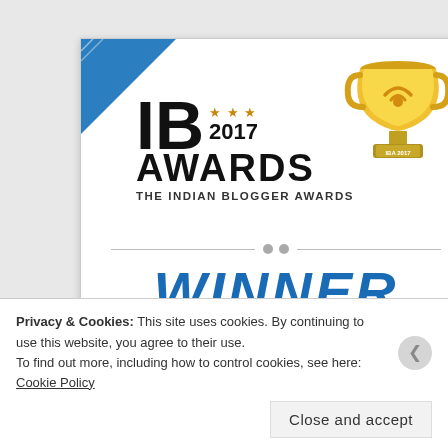[Figure (other): IB Awards 2017 - The Indian Blogger Awards winner badge showing a trophy, stars, 'WINNER' text, website tickereatstheworld.com, and category HARYANA]
Privacy & Cookies: This site uses cookies. By continuing to use this website, you agree to their use.
To find out more, including how to control cookies, see here: Cookie Policy
Close and accept